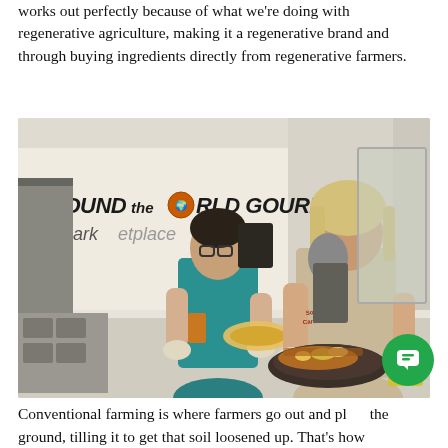works out perfectly because of what we're doing with regenerative agriculture, making it a regenerative brand and through buying ingredients directly from regenerative farmers.
[Figure (photo): Two women working at a food counter inside a restaurant/market called 'Around the World Gourmet Marketplace'. The woman on the right wears gloves and a 'Soil in South Carolina' t-shirt, preparing a dish. The woman on the left wears a teal t-shirt and also has gloves on, working with plates of food on the counter.]
Conventional farming is where farmers go out and plow the ground, tilling it to get that soil loosened up. That's how